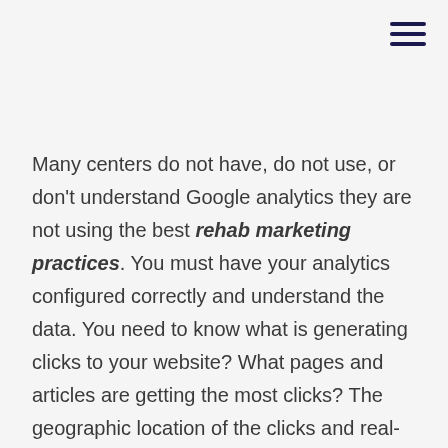[Figure (other): Hamburger menu icon (three horizontal dark navy lines) in the top-right corner]
Many centers do not have, do not use, or don't understand Google analytics they are not using the best rehab marketing practices. You must have your analytics configured correctly and understand the data. You need to know what is generating clicks to your website? What pages and articles are getting the most clicks? The geographic location of the clicks and real-time visitors. You also need to know click troughs for the day and month, traffic sources, articles that are producing visitors, and